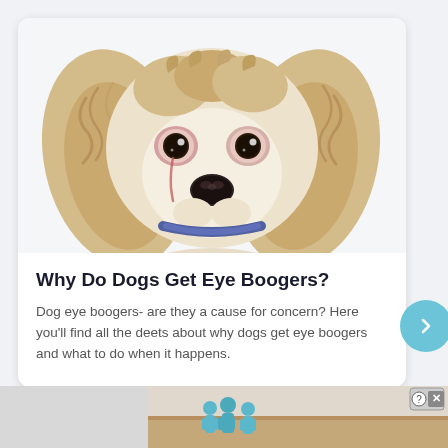[Figure (photo): Close-up photo of a white/cream Cocker Spaniel dog with fluffy ears, dark eyes with reddish eye discharge marks, and a purple/blue collar, on white background]
Why Do Dogs Get Eye Boogers?
Dog eye boogers- are they a cause for concern? Here you'll find all the deets about why dogs get eye boogers and what to do when it happens.
[Figure (screenshot): Partial advertisement banner at bottom of page showing small illustrated figures and help/close icons]